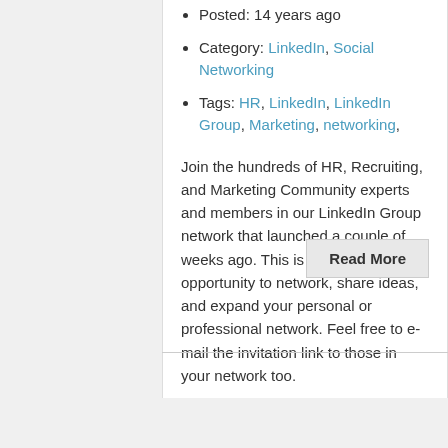Posted: 14 years ago
Category: LinkedIn, Social Networking
Tags: HR, LinkedIn, LinkedIn Group, Marketing, networking,
Join the hundreds of HR, Recruiting, and Marketing Community experts and members in our LinkedIn Group network that launched a couple of weeks ago. This is a great opportunity to network, share ideas, and expand your personal or professional network. Feel free to e-mail the invitation link to those in your network too.